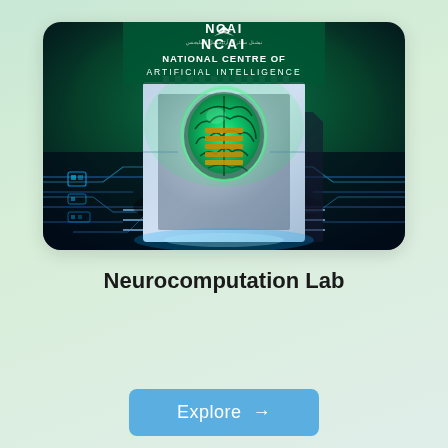[Figure (illustration): NCAI branded card with AI chip circuit board image showing a glowing green brain on a microprocessor chip with blue circuit board background. Header shows NCAI logo and text 'NATIONAL CENTRE OF ARTIFICIAL INTELLIGENCE'.]
Neurocomputation Lab
Explore →